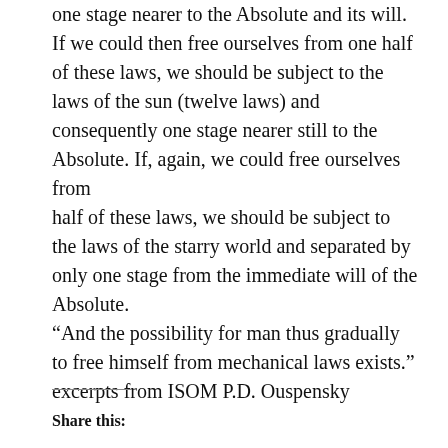one stage nearer to the Absolute and its will. If we could then free ourselves from one half of these laws, we should be subject to the laws of the sun (twelve laws) and consequently one stage nearer still to the Absolute. If, again, we could free ourselves from half of these laws, we should be subject to the laws of the starry world and separated by only one stage from the immediate will of the Absolute. “And the possibility for man thus gradually to free himself from mechanical laws exists.” excerpts from ISOM P.D. Ouspensky
Share this: